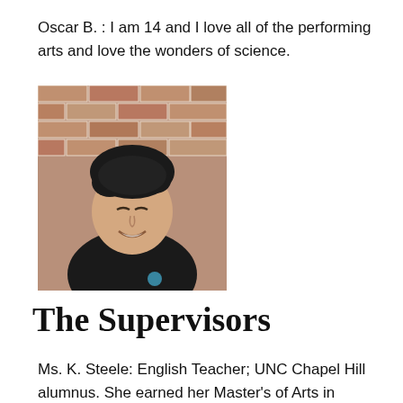Oscar B. : I am 14 and I love all of the performing arts and love the wonders of science.
[Figure (photo): Portrait photo of a smiling teenage boy wearing a black shirt, standing in front of a brick wall with curly hair.]
The Supervisors
Ms. K. Steele: English Teacher; UNC Chapel Hill alumnus. She earned her Master's of Arts in Teaching